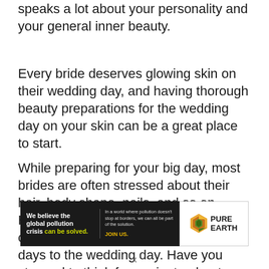speaks a lot about your personality and your general inner beauty.
Every bride deserves glowing skin on their wedding day, and having thorough beauty preparations for the wedding day on your skin can be a great place to start.
While preparing for your big day, most brides are often stressed about their hair, body shape, nails, and so on. However, these are simple details that can easily be worked on, some few days to the wedding day. Have you stopped to think for a minute about your
[Figure (infographic): Pure Earth advertisement banner. Left dark section reads: 'We believe the global pollution crisis can be solved.' with 'can be solved.' in green/yellow. Right side has small text 'In a world where pollution doesn't stop at borders, we can all be part of the solution.' and 'JOIN US.' in gold. Far right shows Pure Earth logo with diamond/arrow icon and bold text 'PURE EARTH'.]
x